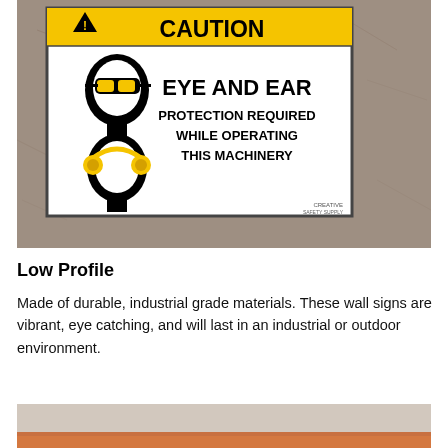[Figure (photo): A CAUTION sign mounted on a concrete wall. Sign reads: CAUTION - EYE AND EAR PROTECTION REQUIRED WHILE OPERATING THIS MACHINERY. Sign shows icons of a person wearing safety glasses and a person wearing ear protection. Logo: Creative Safety Supply.]
Low Profile
Made of durable, industrial grade materials. These wall signs are vibrant, eye catching, and will last in an industrial or outdoor environment.
[Figure (photo): Partial view of an orange sign, cropped at bottom of page.]